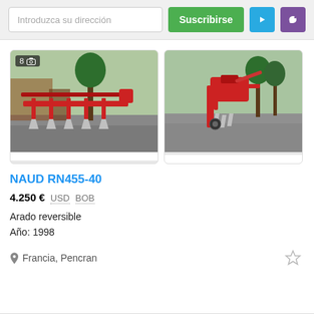Introduzca su dirección | Suscribirse
[Figure (photo): Red reversible plow (arado reversible) on a concrete surface, farm buildings in background. Badge showing 8 photos.]
[Figure (photo): Red reversible plow viewed from a different angle, parked on gravel/concrete surface.]
NAUD RN455-40
4.250 €  USD  BOB
Arado reversible
Año: 1998
Francia, Pencran